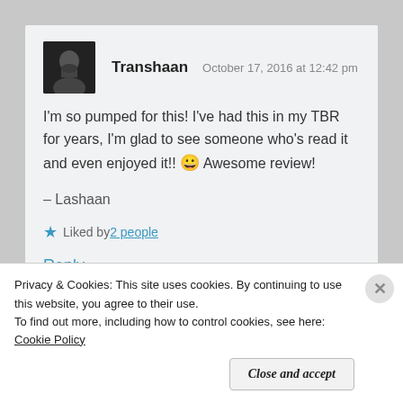Transhaan   October 17, 2016 at 12:42 pm
I'm so pumped for this! I've had this in my TBR for years, I'm glad to see someone who's read it and even enjoyed it!! 😀 Awesome review!
– Lashaan
★ Liked by 2 people
Reply
Privacy & Cookies: This site uses cookies. By continuing to use this website, you agree to their use.
To find out more, including how to control cookies, see here: Cookie Policy
Close and accept